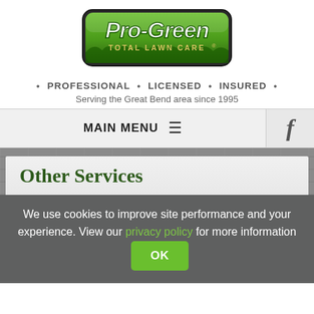[Figure (logo): Pro-Green Total Lawn Care logo — green stylized text with grass and dark border]
• PROFESSIONAL • LICENSED • INSURED •
Serving the Great Bend area since 1995
MAIN MENU
Other Services
GLOSSARY OF SERVICES
We use cookies to improve site performance and your experience. View our privacy policy for more information OK